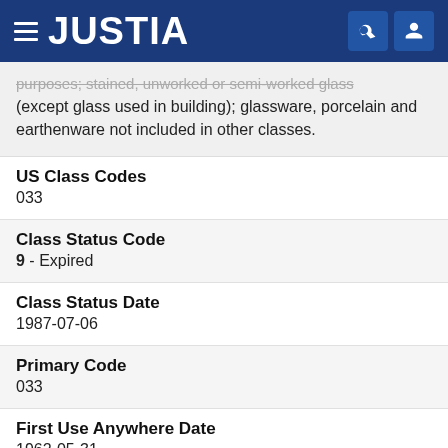JUSTIA
purposes; stained, unworked or semi-worked glass (except glass used in building); glassware, porcelain and earthenware not included in other classes.
US Class Codes
033
Class Status Code
9 - Expired
Class Status Date
1987-07-06
Primary Code
033
First Use Anywhere Date
1962-05-31